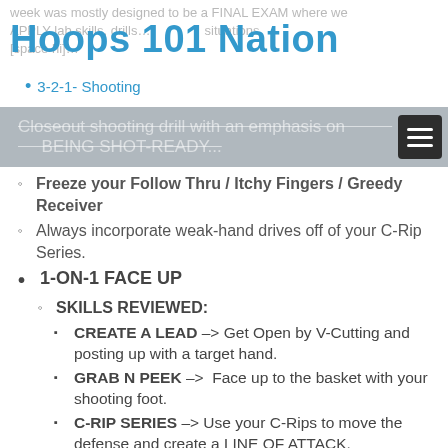week was mostly designed to be a FINAL EXAM where we APPLY lab skills, drills... [space hi]...
Hoops 101 Nation
3-2-1- Shooting
Closeout shooting drill with an emphasis on BEING SHOT-READY...
Freeze your Follow Thru / Itchy Fingers / Greedy Receiver
Always incorporate weak-hand drives off of your C-Rip Series.
1-ON-1 FACE UP
SKILLS REVIEWED:
CREATE A LEAD --> Get Open by V-Cutting and posting up with a target hand.
GRAB N PEEK --> Face up to the basket with your shooting foot.
C-RIP SERIES --> Use your C-Rips to move the defense and create a LINE OF ATTACK.
BATTLEFIELD --> KOB and SEVER THE ANGLE when driving to the basket.
CONTROL --> Always finish off two feet in the paint in traffic.